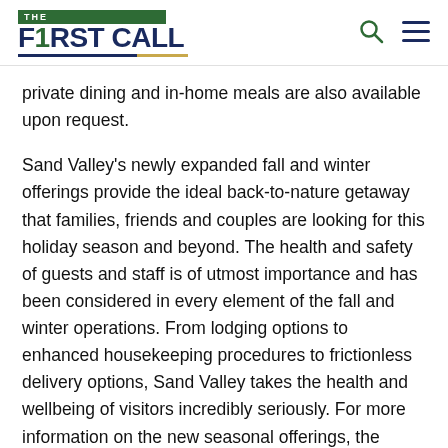THE F1RST CALL
private dining and in-home meals are also available upon request.
Sand Valley's newly expanded fall and winter offerings provide the ideal back-to-nature getaway that families, friends and couples are looking for this holiday season and beyond. The health and safety of guests and staff is of utmost importance and has been considered in every element of the fall and winter operations. From lodging options to enhanced housekeeping procedures to frictionless delivery options, Sand Valley takes the health and wellbeing of visitors incredibly seriously. For more information on the new seasonal offerings, the resort's health and safety protocols or